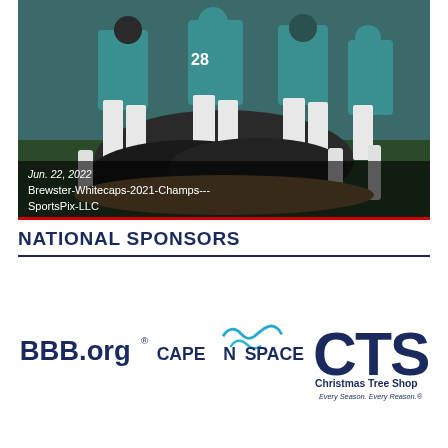[Figure (photo): Baseball team celebrating, players piled on top of each other on a field. Players wearing teal/aqua jerseys. Overlay text shows 'Jun. 22, 2022' and 'Brewster-Whitecaps-2021-Champs---SportsPix-LLC'. Red bar at bottom of image.]
NATIONAL SPONSORS
[Figure (logo): Three sponsor logos displayed side by side: BBB.org (Better Business Bureau), Cape Space, and CTS Christmas Tree Shop (Every Season. Every Reason.)]